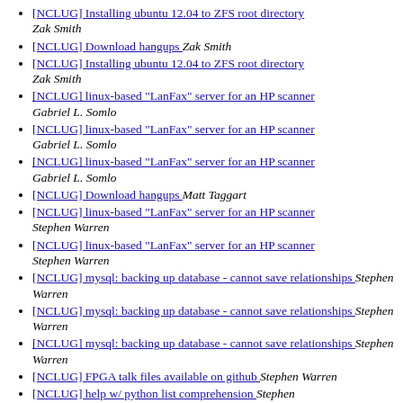[NCLUG] Installing ubuntu 12.04 to ZFS root directory  Zak Smith
[NCLUG] Download hangups  Zak Smith
[NCLUG] Installing ubuntu 12.04 to ZFS root directory  Zak Smith
[NCLUG] linux-based "LanFax" server for an HP scanner  Gabriel L. Somlo
[NCLUG] linux-based "LanFax" server for an HP scanner  Gabriel L. Somlo
[NCLUG] linux-based "LanFax" server for an HP scanner  Gabriel L. Somlo
[NCLUG] Download hangups  Matt Taggart
[NCLUG] linux-based "LanFax" server for an HP scanner  Stephen Warren
[NCLUG] linux-based "LanFax" server for an HP scanner  Stephen Warren
[NCLUG] mysql: backing up database - cannot save relationships  Stephen Warren
[NCLUG] mysql: backing up database - cannot save relationships  Stephen Warren
[NCLUG] mysql: backing up database - cannot save relationships  Stephen Warren
[NCLUG] FPGA talk files available on github  Stephen Warren
[NCLUG] help w/ python list comprehension  Stephen